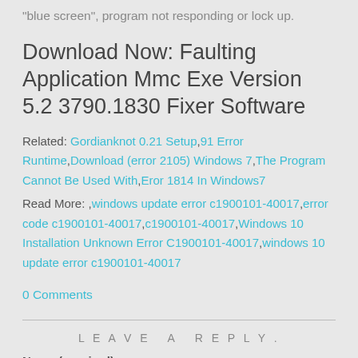"blue screen", program not responding or lock up.
Download Now: Faulting Application Mmc Exe Version 5.2 3790.1830 Fixer Software
Related: Gordianknot 0.21 Setup, 91 Error Runtime, Download (error 2105) Windows 7, The Program Cannot Be Used With, Eror 1814 In Windows7
Read More: ,windows update error c1900101-40017,error code c1900101-40017,c1900101-40017,Windows 10 Installation Unknown Error C1900101-40017,windows 10 update error c1900101-40017
0 Comments
LEAVE A REPLY.
Name (required)